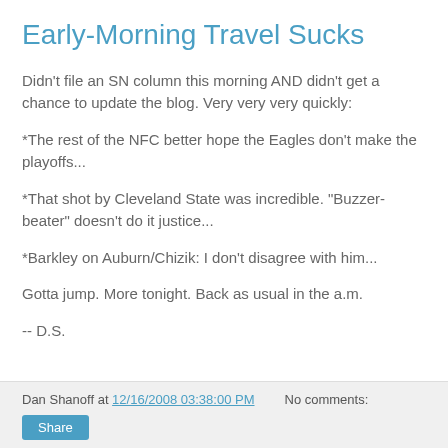Early-Morning Travel Sucks
Didn't file an SN column this morning AND didn't get a chance to update the blog. Very very very quickly:
*The rest of the NFC better hope the Eagles don't make the playoffs...
*That shot by Cleveland State was incredible. "Buzzer-beater" doesn't do it justice...
*Barkley on Auburn/Chizik: I don't disagree with him...
Gotta jump. More tonight. Back as usual in the a.m.
-- D.S.
Dan Shanoff at 12/16/2008 03:38:00 PM   No comments:   Share